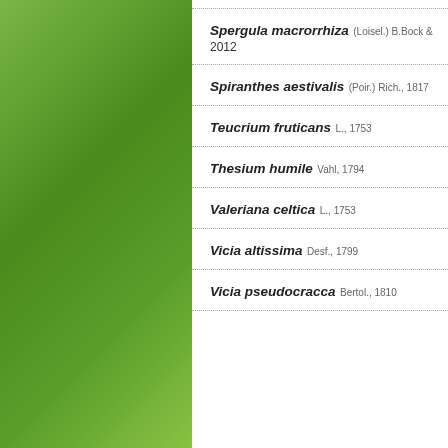Spergula macrorrhiza (Loisel.) B.Bock & 2012
Spiranthes aestivalis (Poir.) Rich., 1817
Teucrium fruticans L., 1753
Thesium humile Vahl, 1794
Valeriana celtica L., 1753
Vicia altissima Desf., 1799
Vicia pseudocracca Bertol., 1810